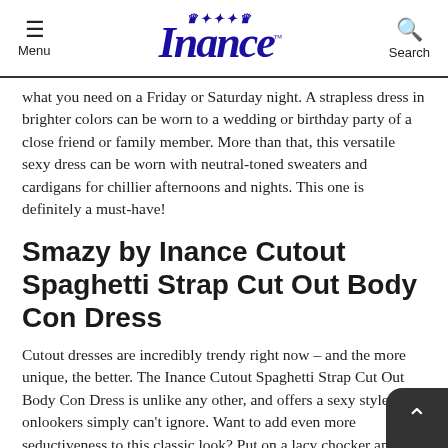Menu | Inance | Search
what you need on a Friday or Saturday night. A strapless dress in brighter colors can be worn to a wedding or birthday party of a close friend or family member. More than that, this versatile sexy dress can be worn with neutral-toned sweaters and cardigans for chillier afternoons and nights. This one is definitely a must-have!
Smazy by Inance Cutout Spaghetti Strap Cut Out Body Con Dress
Cutout dresses are incredibly trendy right now – and the more unique, the better. The Inance Cutout Spaghetti Strap Cut Out Body Con Dress is unlike any other, and offers a sexy style that onlookers simply can't ignore. Want to add even more seductiveness to this classic look? Put on a lacy chocker and strap on a pair of metallic high heeled shoes. This will ac distinctive neckline of this sexy dress.